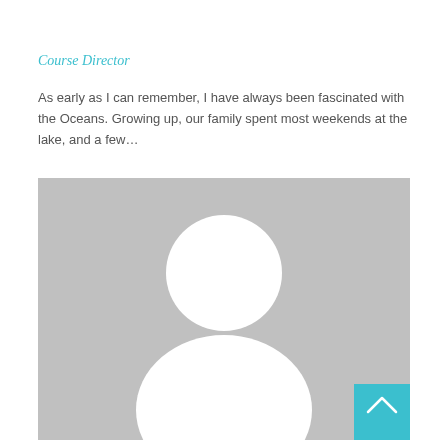Course Director
As early as I can remember, I have always been fascinated with the Oceans. Growing up, our family spent most weekends at the lake, and a few...
[Figure (photo): Generic gray placeholder avatar image showing a silhouette of a person (circle head and rounded shoulders) in white on a gray background, with a teal scroll-to-top button in the bottom-right corner]